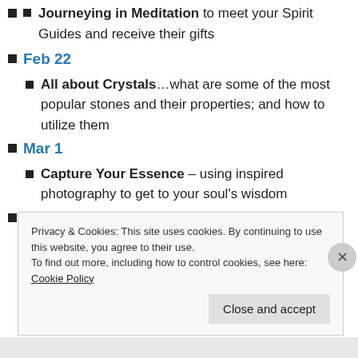Journeying in Meditation to meet your Spirit Guides and receive their gifts
Feb 22
All about Crystals…what are some of the most popular stones and their properties; and how to utilize them
Mar 1
Capture Your Essence – using inspired photography to get to your soul's wisdom
Mar 8
Privacy & Cookies: This site uses cookies. By continuing to use this website, you agree to their use.
To find out more, including how to control cookies, see here: Cookie Policy
Close and accept